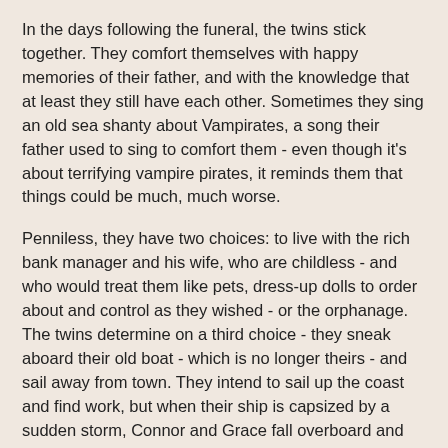In the days following the funeral, the twins stick together. They comfort themselves with happy memories of their father, and with the knowledge that at least they still have each other. Sometimes they sing an old sea shanty about Vampirates, a song their father used to sing to comfort them - even though it's about terrifying vampire pirates, it reminds them that things could be much, much worse.
Penniless, they have two choices: to live with the rich bank manager and his wife, who are childless - and who would treat them like pets, dress-up dolls to order about and control as they wished - or the orphanage. The twins determine on a third choice - they sneak aboard their old boat - which is no longer theirs - and sail away from town. They intend to sail up the coast and find work, but when their ship is capsized by a sudden storm, Connor and Grace fall overboard and nearly drown.
Connor is rescued by a passing pirate ship, and Grace is rescued by a ship of another kind altogether - although she does not realize it at first. Connor is treated well by the pirates on his ship, but they think his stubborn belief that his